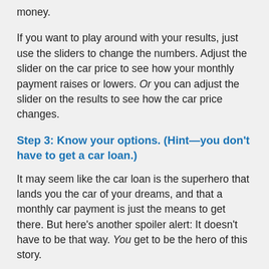money.
If you want to play around with your results, just use the sliders to change the numbers. Adjust the slider on the car price to see how your monthly payment raises or lowers. Or you can adjust the slider on the results to see how the car price changes.
Step 3: Know your options. (Hint—you don't have to get a car loan.)
It may seem like the car loan is the superhero that lands you the car of your dreams, and that a monthly car payment is just the means to get there. But here's another spoiler alert: It doesn't have to be that way. You get to be the hero of this story.
The truth is, once you learn that car loans don't exist